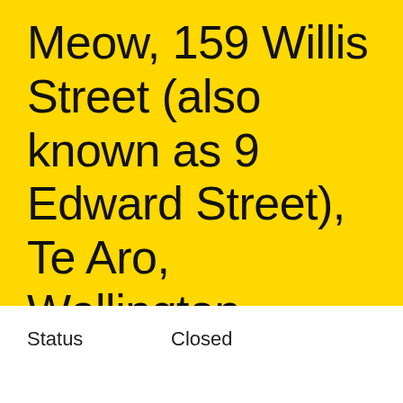Meow, 159 Willis Street (also known as 9 Edward Street), Te Aro, Wellington
Status	Closed